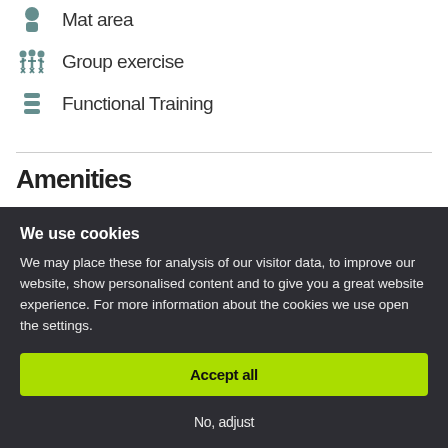Mat area
Group exercise
Functional Training
Amenities
We use cookies
We may place these for analysis of our visitor data, to improve our website, show personalised content and to give you a great website experience. For more information about the cookies we use open the settings.
Accept all
No, adjust